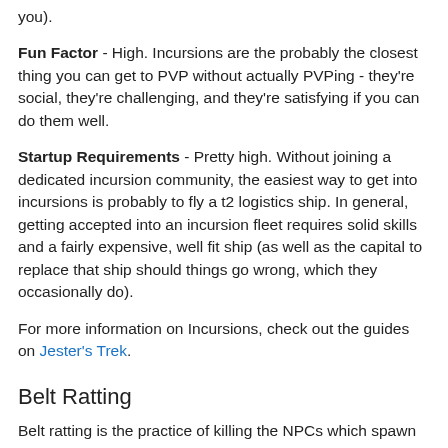you).
Fun Factor - High. Incursions are the probably the closest thing you can get to PVP without actually PVPing - they're social, they're challenging, and they're satisfying if you can do them well.
Startup Requirements - Pretty high. Without joining a dedicated incursion community, the easiest way to get into incursions is probably to fly a t2 logistics ship. In general, getting accepted into an incursion fleet requires solid skills and a fairly expensive, well fit ship (as well as the capital to replace that ship should things go wrong, which they occasionally do).
For more information on Incursions, check out the guides on Jester's Trek.
Belt Ratting
Belt ratting is the practice of killing the NPCs which spawn at